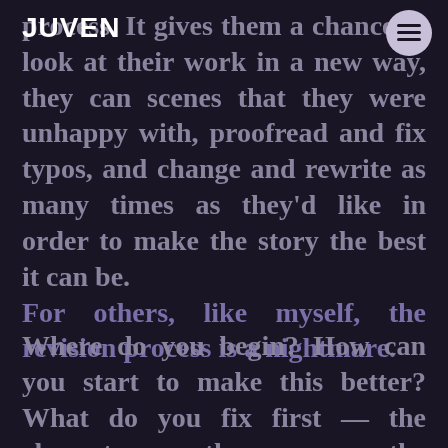JUVEN
process. It gives them a chance to look at their work in a new way, they can scenes that they were unhappy with, proofread and fix typos, and change and rewrite as many times as they'd like in order to make the story the best it can be.
For others, like myself, the revision process is a nightmare.
Where do you begin? How can you start to make this better? What do you fix first — the characters or the scenes or the grammar? As you begin to revise your story, make sure you not only have